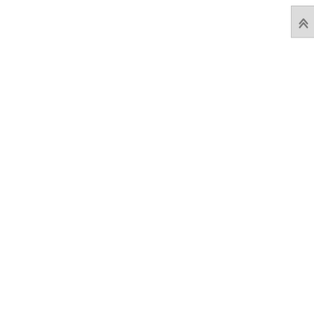Search
m
Epoch
for 20
The follow
process fo
| Data |
| DNS |
| TCP conn |
| Process e |
| Software |
Note that t
This is
For the
installe